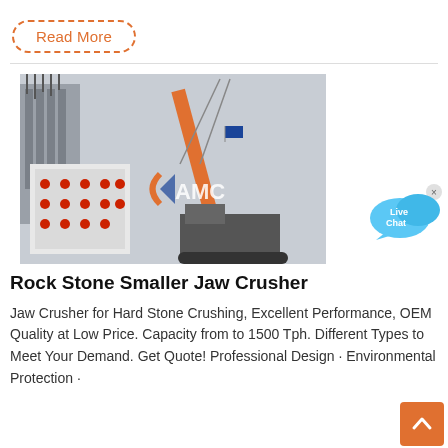Read More
[Figure (photo): Construction site photo showing a large jaw crusher machine being lifted or positioned by an orange crane. The AMC logo/watermark is visible on the image. Heavy machinery and construction structures visible in background.]
[Figure (illustration): Live Chat speech bubble icon in blue with 'Live Chat' text and an x close button]
Rock Stone Smaller Jaw Crusher
Jaw Crusher for Hard Stone Crushing, Excellent Performance, OEM Quality at Low Price. Capacity from to 1500 Tph. Different Types to Meet Your Demand. Get Quote! Professional Design · Environmental Protection ·